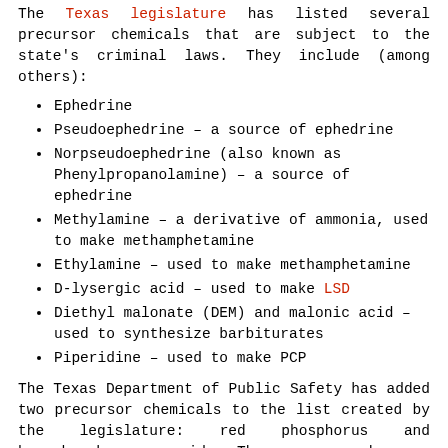The Texas legislature has listed several precursor chemicals that are subject to the state's criminal laws. They include (among others):
Ephedrine
Pseudoephedrine – a source of ephedrine
Norpseudoephedrine (also known as Phenylpropanolamine) – a source of ephedrine
Methylamine – a derivative of ammonia, used to make methamphetamine
Ethylamine – used to make methamphetamine
D-lysergic acid – used to make LSD
Diethyl malonate (DEM) and malonic acid – used to synthesize barbiturates
Piperidine – used to make PCP
The Texas Department of Public Safety has added two precursor chemicals to the list created by the legislature: red phosphorus and hypophosphorous acid. Those compounds are commonly combined with ephedrine to manufacture methamphetamine.